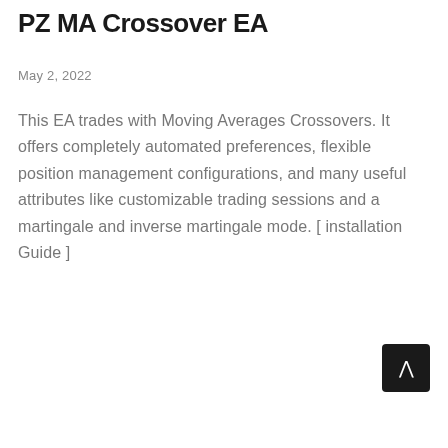PZ MA Crossover EA
May 2, 2022
This EA trades with Moving Averages Crossovers. It offers completely automated preferences, flexible position management configurations, and many useful attributes like customizable trading sessions and a martingale and inverse martingale mode. [ installation Guide ]